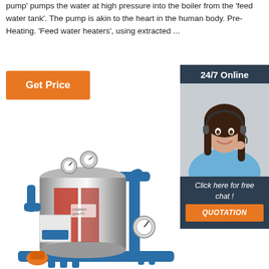pump' pumps the water at high pressure into the boiler from the 'feed water tank'. The pump is akin to the heart in the human body. Pre-Heating. 'Feed water heaters', using extracted ...
Get Price
24/7 Online
[Figure (photo): Customer service representative woman with headset smiling]
Click here for free chat !
QUOTATION
[Figure (photo): Industrial steam boiler unit with blue pipes, pressure gauges, and control panel]